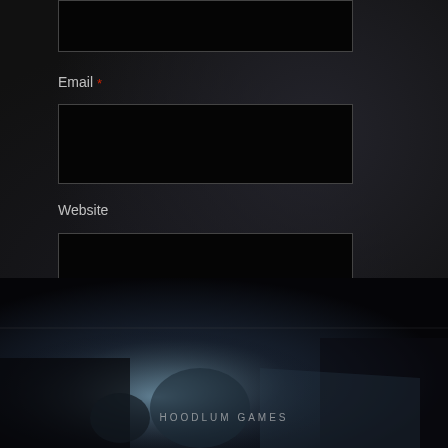[Figure (screenshot): Top portion of a dark-themed web comment form showing a text input box at the top (partially cut off)]
Email *
[Figure (screenshot): Email input field - dark/black text box]
Website
[Figure (screenshot): Website input field - dark/black text box]
Save my name, email, and website in this browser for the next time I comment.
Post Comment
[Figure (photo): Dark atmospheric image at the bottom showing figures near a vehicle in foggy/misty conditions, with text partially visible reading what appears to be a website or brand name with 'HOOD' visible]